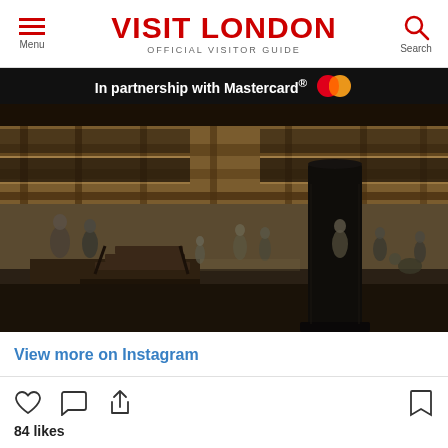VISIT LONDON — OFFICIAL VISITOR GUIDE — Menu | Search
In partnership with Mastercard®
[Figure (photo): Interior of Shakespeare's Globe Theatre in London, showing the wooden galleries, standing area (yard), and stage. Visitors are visible in the yard and gallery areas. A large dark pillar is prominent in the foreground right, and wooden stairs lead to the stage on the left.]
View more on Instagram
84 likes